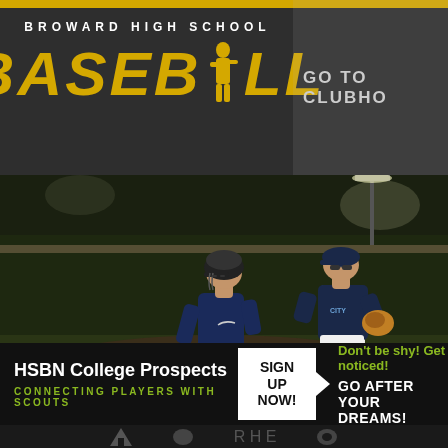BROWARD HIGH SCHOOL BASEBALL
GO TO CLUBHO
[Figure (photo): Night baseball game photo showing a batter in dark navy uniform with helmet leaning forward, and a fielder with glove in light uniform, on a lit baseball field]
HSBN College Prospects
CONNECTING PLAYERS WITH SCOUTS
SIGN UP NOW!
Don't be shy! Get noticed!
GO AFTER YOUR DREAMS!